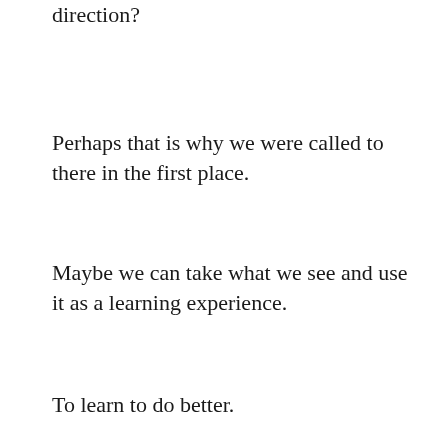why not put some effort in to move it in a better direction?
Perhaps that is why we were called to there in the first place.
Maybe we can take what we see and use it as a learning experience.
To learn to do better.